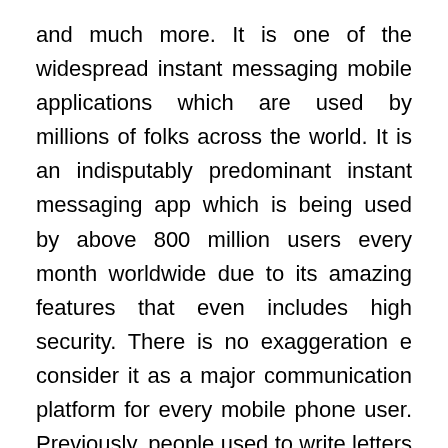and much more. It is one of the widespread instant messaging mobile applications which are used by millions of folks across the world. It is an indisputably predominant instant messaging app which is being used by above 800 million users every month worldwide due to its amazing features that even includes high security. There is no exaggeration e consider it as a major communication platform for every mobile phone user. Previously, people used to write letters to their crush or much-loved ones and wait tolerantly for their response for more than a month. In those days, we don't have proper communications system to contact a person if there is any immediate work. But now, all those days vanish, and we can get an instant reply